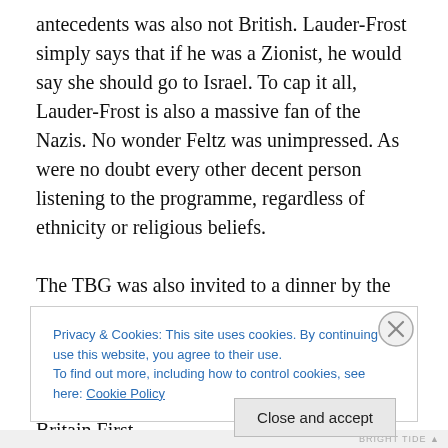antecedents was also not British. Lauder-Frost simply says that if he was a Zionist, he would say she should go to Israel. To cap it all, Lauder-Frost is also a massive fan of the Nazis. No wonder Feltz was unimpressed. As were no doubt every other decent person listening to the programme, regardless of ethnicity or religious beliefs.

The TBG was also invited to a dinner by the Bow Group, another outfit like the Monday Club on the extreme right of the Tories. The Cat cites Louise Haigh, the Labour politico, who managed to get the Nazi youth group, Britain First,
Privacy & Cookies: This site uses cookies. By continuing to use this website, you agree to their use.
To find out more, including how to control cookies, see here: Cookie Policy
Close and accept